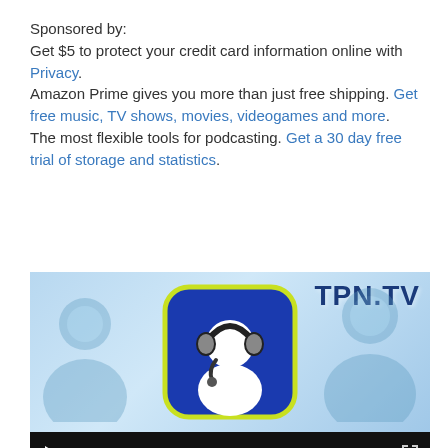Sponsored by:
Get $5 to protect your credit card information online with Privacy.
Amazon Prime gives you more than just free shipping. Get free music, TV shows, movies, videogames and more.
The most flexible tools for podcasting. Get a 30 day free trial of storage and statistics.
[Figure (screenshot): TPN.TV video player thumbnail showing a podcast-themed icon (person with headphones in blue rounded square) with ghost figures on both sides on a light blue background, and a black video controls bar at the bottom with play button, 00:00 timecodes, a progress bar, and expand icon.]